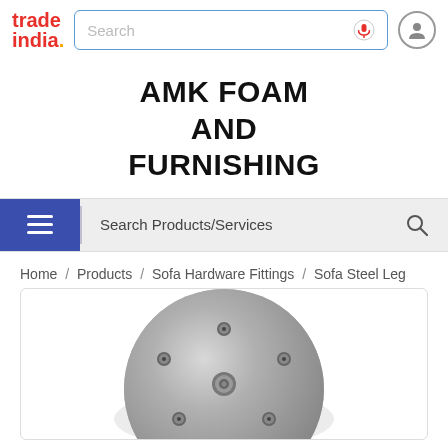trade india. [search bar] [mic icon] [user icon]
AMK FOAM AND FURNISHING
Search Products/Services [hamburger menu] [search icon]
Home / Products / Sofa Hardware Fittings / Sofa Steel Leg
[Figure (photo): A round metallic sofa steel leg base plate with screw holes, photographed on white background]